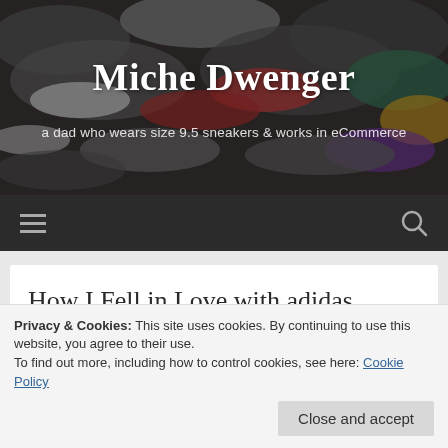[Figure (photo): Colorful pile of various sneakers/shoes as background header image]
Miche Dwenger
a dad who wears size 9.5 sneakers & works in eCommerce
[Figure (infographic): Navigation bar with hamburger menu icon on left and search icon on right, dark background]
How I Fell in Love with adidas (Again)
Privacy & Cookies: This site uses cookies. By continuing to use this website, you agree to their use.
To find out more, including how to control cookies, see here: Cookie Policy
Close and accept